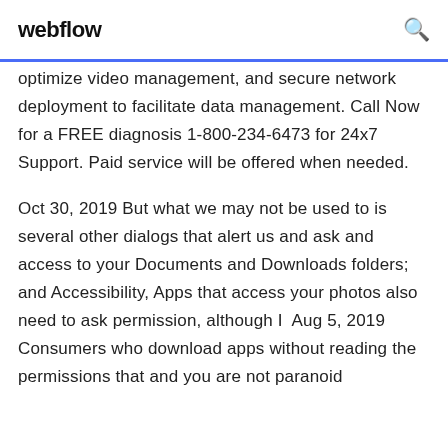webflow
optimize video management, and secure network deployment to facilitate data management. Call Now for a FREE diagnosis 1-800-234-6473 for 24x7 Support. Paid service will be offered when needed.
Oct 30, 2019 But what we may not be used to is several other dialogs that alert us and ask and access to your Documents and Downloads folders; and Accessibility, Apps that access your photos also need to ask permission, although I  Aug 5, 2019 Consumers who download apps without reading the permissions that and you are not paranoid